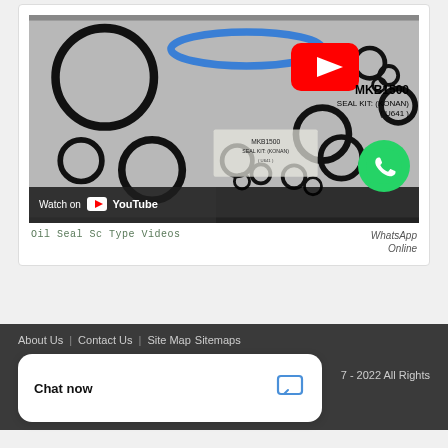[Figure (screenshot): YouTube video thumbnail showing MKB1500 Seal Kit (Konan) with various O-rings and seals laid out on a surface. A YouTube play button is visible in the upper right area of the thumbnail. A 'Watch on YouTube' bar appears at the bottom left. A WhatsApp icon appears at the bottom right of the thumbnail.]
Oil Seal Sc Type Videos
WhatsApp Online
About Us | Contact Us | Site Map Sitemaps
7 - 2022 All Rights
Chat now